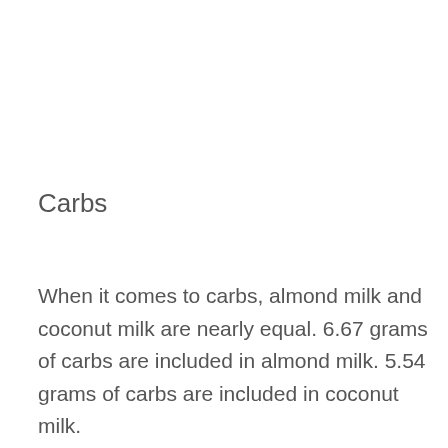Carbs
When it comes to carbs, almond milk and coconut milk are nearly equal. 6.67 grams of carbs are included in almond milk. 5.54 grams of carbs are included in coconut milk.